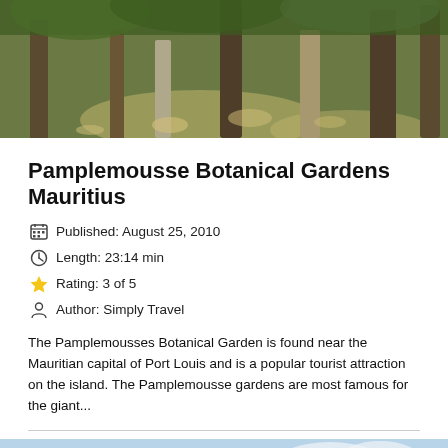[Figure (photo): Botanical garden path with large trees and dappled sunlight, stone pillars visible]
Pamplemousse Botanical Gardens Mauritius
Published: August 25, 2010
Length: 23:14 min
Rating: 3 of 5
Author: Simply Travel
The Pamplemousses Botanical Garden is found near the Mauritian capital of Port Louis and is a popular tourist attraction on the island. The Pamplemousse gardens are most famous for the giant...
[Figure (photo): Lush green Mauritian hillside with mountain peaks in background, small structure visible, YouTube play button overlay indicating video content]